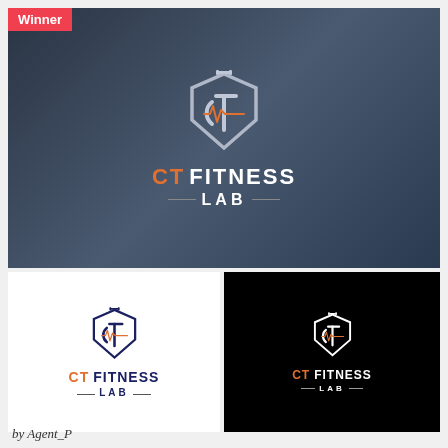[Figure (logo): CT Fitness Lab logo shown in three color variants: on dark blue/gray background (top), on white background (bottom left), and on black background (bottom right). Logo features a shield icon with CT letters and a heartbeat line, with text CT FITNESS LAB.]
Winner
by Agent_P